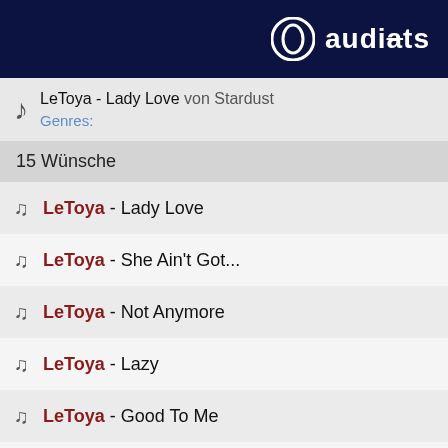audiats
LeToya - Lady Love von Stardust
Genres:
15 Wünsche
LeToya - Lady Love
LeToya - She Ain't Got...
LeToya - Not Anymore
LeToya - Lazy
LeToya - Good To Me
LeToya - Over
LeToya - Regret
LeToya - ...